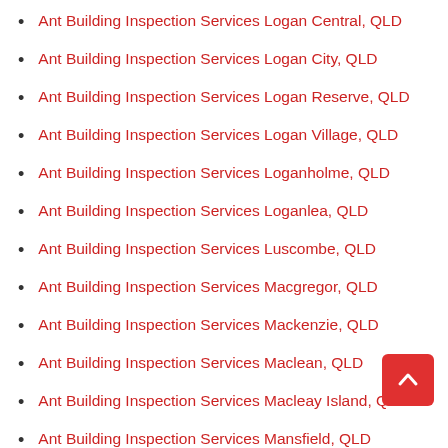Ant Building Inspection Services Logan Central, QLD
Ant Building Inspection Services Logan City, QLD
Ant Building Inspection Services Logan Reserve, QLD
Ant Building Inspection Services Logan Village, QLD
Ant Building Inspection Services Loganholme, QLD
Ant Building Inspection Services Loganlea, QLD
Ant Building Inspection Services Luscombe, QLD
Ant Building Inspection Services Macgregor, QLD
Ant Building Inspection Services Mackenzie, QLD
Ant Building Inspection Services Maclean, QLD
Ant Building Inspection Services Macleay Island, QLD
Ant Building Inspection Services Mansfield, QLD
Ant Building Inspection Services Marsden, QLD
Ant Building Inspection Services Meadowbrook, QLD
Ant Building Inspection Services Mount Cotton, QLD